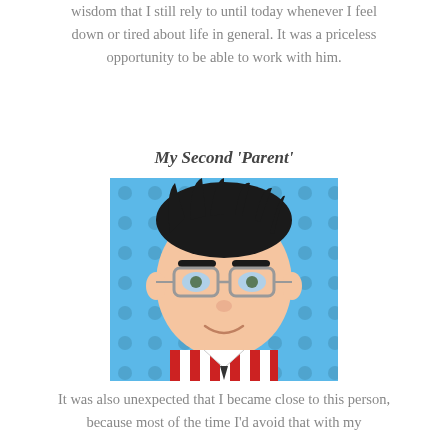wisdom that I still rely to until today whenever I feel down or tired about life in general. It was a priceless opportunity to be able to work with him.
My Second 'Parent'
[Figure (illustration): Cartoon/avatar illustration of a man with dark spiky hair, glasses, and a red and white striped shirt, on a blue polka-dot background.]
It was also unexpected that I became close to this person, because most of the time I'd avoid that with my